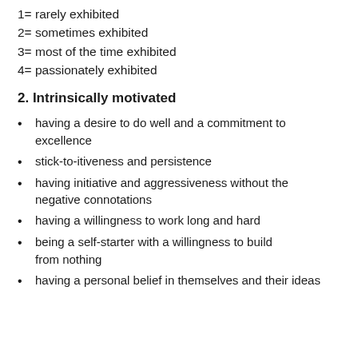1= rarely exhibited
2= sometimes exhibited
3= most of the time exhibited
4= passionately exhibited
2. Intrinsically motivated
having a desire to do well and a commitment to excellence
stick-to-itiveness and persistence
having initiative and aggressiveness without the negative connotations
having a willingness to work long and hard
being a self-starter with a willingness to build from nothing
having a personal belief in themselves and their ideas